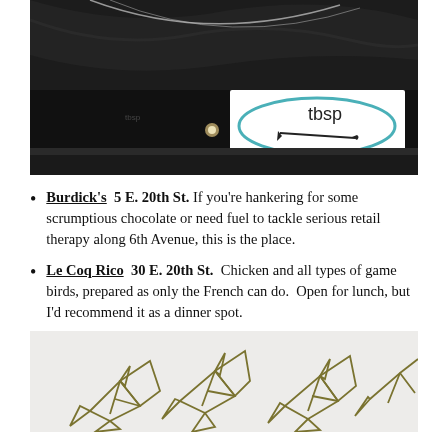[Figure (photo): Photo of a restaurant exterior at night showing a black awning/ceiling with a white banner sign displaying 'tbsp' with a fork icon inside a teal oval, with string lights visible in the background.]
Burdick's  5 E. 20th St.  If you're hankering for some scrumptious chocolate or need fuel to tackle serious retail therapy along 6th Avenue, this is the place.
Le Coq Rico  30 E. 20th St.  Chicken and all types of game birds, prepared as only the French can do.  Open for lunch, but I'd recommend it as a dinner spot.
[Figure (photo): Photo showing a light-colored surface with olive/dark gold colored origami bird designs or cut-out decorations arranged on it.]